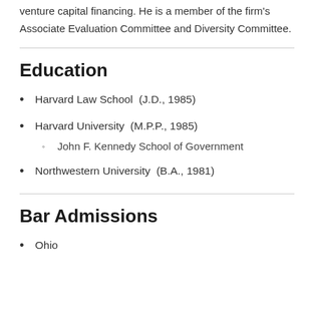venture capital financing. He is a member of the firm's Associate Evaluation Committee and Diversity Committee.
Education
Harvard Law School  (J.D., 1985)
Harvard University  (M.P.P., 1985)
John F. Kennedy School of Government
Northwestern University  (B.A., 1981)
Bar Admissions
Ohio